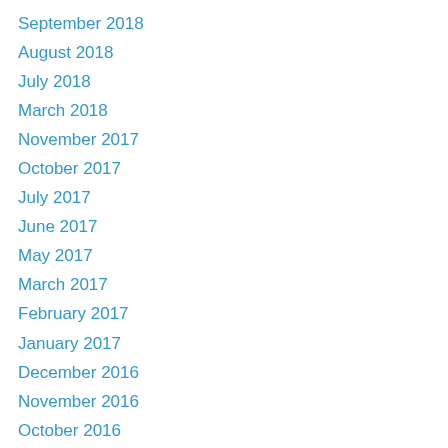September 2018
August 2018
July 2018
March 2018
November 2017
October 2017
July 2017
June 2017
May 2017
March 2017
February 2017
January 2017
December 2016
November 2016
October 2016
August 2016
July 2016
June 2016
April 2016
March 2016